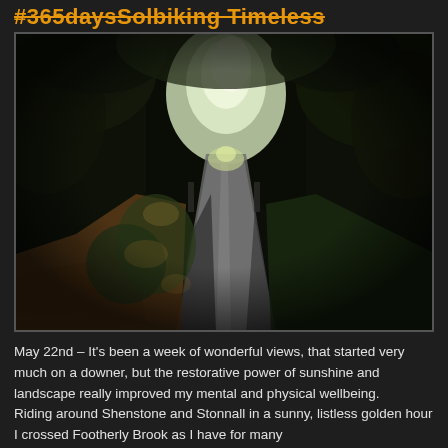#365daysSolbiking Timeless
[Figure (photo): A dark country lane flanked by tall trees forming a canopy overhead, with dappled light breaking through in the centre distance. The road curves gently ahead with green hedgerows and shadowed undergrowth on both sides.]
May 22nd – It's been a week of wonderful views, that started very much on a downer, but the restorative power of sunshine and landscape really improved my mental and physical wellbeing.
Riding around Shenstone and Stonnall in a sunny, listless golden hour I crossed Footherly Brook as I have for many